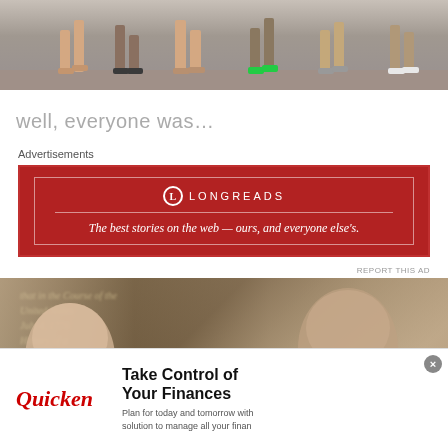[Figure (photo): Top portion showing runners' legs and feet at ground level during a race]
well, everyone was…
Advertisements
[Figure (other): Longreads advertisement banner in red: 'The best stories on the web — ours, and everyone else's.']
[Figure (photo): Photo of two people (woman and man) standing in front of a blurred historical sign, man smiling at camera]
[Figure (other): Quicken advertisement: 'Take Control of Your Finances - Plan for today and tomorrow with solution to manage all your finan']